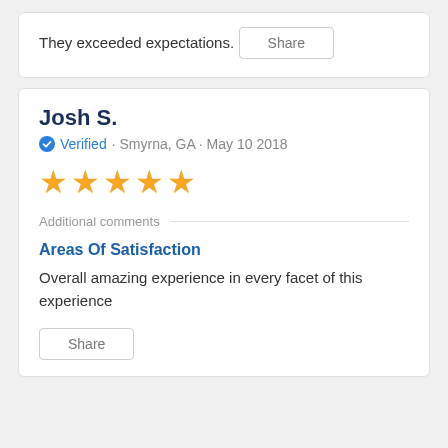They exceeded expectations.
Share
Josh S.
Verified · Smyrna, GA · May 10 2018
[Figure (other): Five orange stars rating]
Additional comments
Areas Of Satisfaction
Overall amazing experience in every facet of this experience
Share